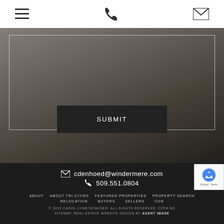Navigation bar with hamburger menu, phone icon, and email icon
[Figure (photo): Person writing in a notebook at a desk, blurred/darkened background with form border overlay and SUBMIT button]
SUBMIT
cdenhoed@windermere.com
509.551.0804
ABOUT  ABOUT TRI-CITIES  FEATURED PROPERTIES  PROPERTY SEARCH
RELOCATION  BUYERS  SELLERS  CON...
© 2022 CAROL-LYNN DENHOED. ALL RIGHTS RESERVED. CCPA NO... SITEMAP. REAL ESTATE WEBSITE DESIGN BY AGENT IMAGE...